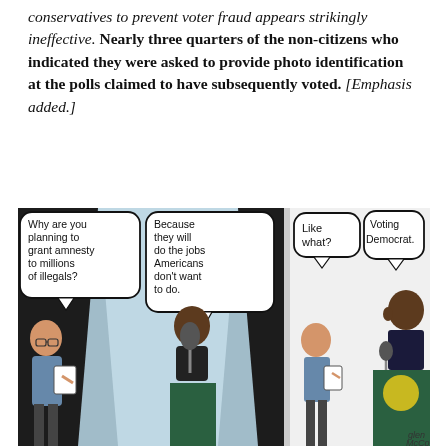conservatives to prevent voter fraud appears strikingly ineffective. Nearly three quarters of the non-citizens who indicated they were asked to provide photo identification at the polls claimed to have subsequently voted. [Emphasis added.]
[Figure (illustration): A two-panel political cartoon. Left panel shows a reporter asking a figure at a podium 'Why are you planning to grant amnesty to millions of illegals?' The figure responds 'Because they will do the jobs Americans don't want to do.' Right panel continues the exchange with another figure asking 'Like what?' and the podium figure responding 'Voting Democrat.' The cartoon is signed by Glen McCoy or similar.]